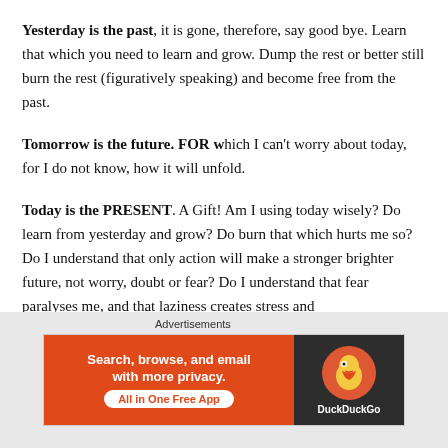Yesterday is the past, it is gone, therefore, say good bye. Learn that which you need to learn and grow.  Dump the rest or better still burn the rest (figuratively speaking) and become free  from the past.
Tomorrow is the future. FOR which I can't worry about today, for I do not know, how it will unfold.
Today is the PRESENT. A Gift!  Am I using today wisely?  Do learn from yesterday and grow? Do burn that which hurts me so?  Do I understand that only action will make a stronger brighter future, not worry, doubt or fear?  Do I understand that fear paralyses me, and that laziness creates stress and
Advertisements
[Figure (screenshot): DuckDuckGo advertisement banner: orange left side with text 'Search, browse, and email with more privacy. All in One Free App' and dark right side with DuckDuckGo duck logo and brand name.]